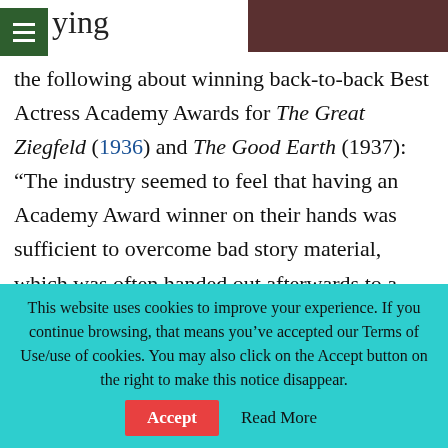ying
[Figure (photo): Partial photo visible in top-right corner, dark reddish-brown tones]
the following about winning back-to-back Best Actress Academy Awards for The Great Ziegfeld (1936) and The Good Earth (1937): “The industry seemed to feel that having an Academy Award winner on their hands was sufficient to overcome bad story material, which was often handed out afterwards to a star under long-term contract.”

Of course, “bad story material” was handed to
This website uses cookies to improve your experience. If you continue browsing, that means you’ve accepted our Terms of Use/use of cookies. You may also click on the Accept button on the right to make this notice disappear.